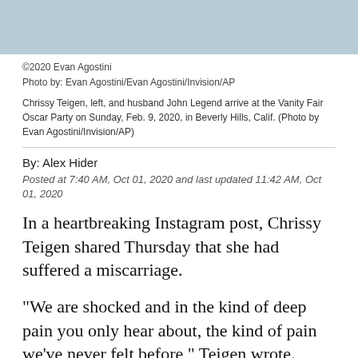[Figure (photo): Partial photo of Chrissy Teigen and John Legend at the Vanity Fair Oscar Party, cropped to show only the bottom portion of their attire.]
©2020 Evan Agostini
Photo by: Evan Agostini/Evan Agostini/Invision/AP

Chrissy Teigen, left, and husband John Legend arrive at the Vanity Fair Oscar Party on Sunday, Feb. 9, 2020, in Beverly Hills, Calif. (Photo by Evan Agostini/Invision/AP)
By: Alex Hider
Posted at 7:40 AM, Oct 01, 2020 and last updated 11:42 AM, Oct 01, 2020
In a heartbreaking Instagram post, Chrissy Teigen shared Thursday that she had suffered a miscarriage.
"We are shocked and in the kind of deep pain you only hear about, the kind of pain we've never felt before," Teigen wrote.
The model and TV personality and her husband, singer